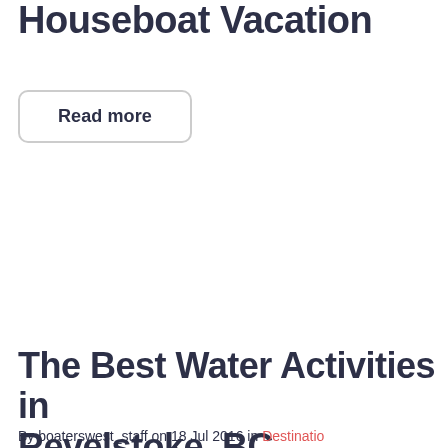Houseboat Vacation
Read more
The Best Water Activities in Revelstoke, BC
By boaterswest_staff on 18 Jul 2016 in Destinations